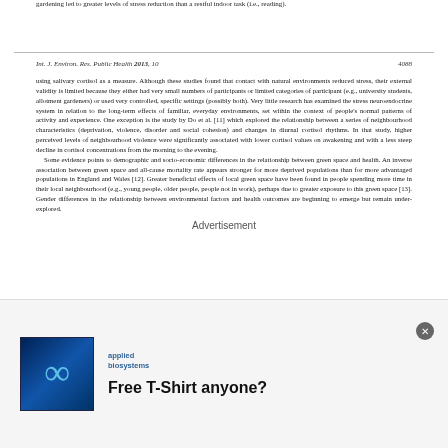gardening led to greater levels of stress reduction than a restful indoor task (i.e., reading).
Int. J. Environ. Res. Public Health 2013, 10	4088
using salivary cortisol as a measure. Although these studies found that contact with natural environments reduced stress, their external validity is limited because they either had very small numbers of participants or limited categories of participant (e.g., university students, allotment gardeners) or used very controlled, specific settings (possibly both). Very little research has examined the stress neuroendocrine system in relation to the long-term effects of familiar, everyday environments, set within the context of people's normal patterns of activity and experience. One exception is the study by Do et al. [11] which explored the relationship between a series of neighbourhood characteristics (deprivation, violence, disorder and social cohesion) and changes in diurnal cortisol rhythms. In that study, higher perceived levels of neighbourhood violence were significantly associated with lower cortisol values on awakening and with a less steep decline in cortisol concentrations from the morning to the evening.
	Some evidence points to demographic and socio-economic differences in the relationship between green space and health. An inverse association between green space and all-cause mortality rate appears stronger for more deprived populations than for more advantaged populations in England and Wales [12]. Greater beneficial effects of local green space have been found in people spending more time in their local neighbourhood (e.g., young people, older people, people not in work), perhaps due to greater exposure to this green space [13]. Gender differences in the relationship between environmental factors and health outcomes are beginning to emerge but remain under-explored.
[Figure (infographic): Advertisement: applied biosystems logo with infinity symbol, text 'Free T-Shirt anyone?']